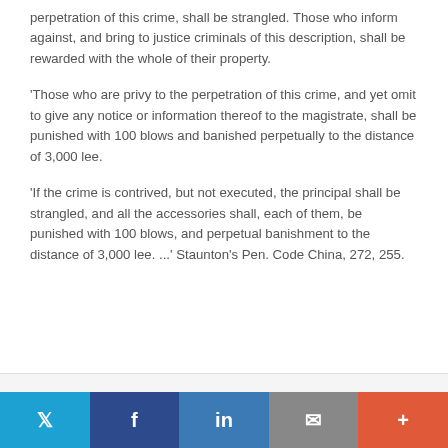perpetration of this crime, shall be strangled. Those who inform against, and bring to justice criminals of this description, shall be rewarded with the whole of their property.
'Those who are privy to the perpetration of this crime, and yet omit to give any notice or information thereof to the magistrate, shall be punished with 100 blows and banished perpetually to the distance of 3,000 lee.
'If the crime is contrived, but not executed, the principal shall be strangled, and all the accessories shall, each of them, be punished with 100 blows, and perpetual banishment to the distance of 3,000 lee. ...' Staunton's Pen. Code China, 272, 255.
Twitter | Facebook | LinkedIn | Email | More